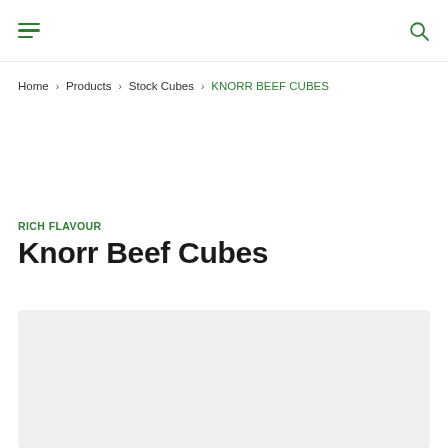Navigation bar with hamburger menu and search icon
Home › Products › Stock Cubes › KNORR BEEF CUBES
RICH FLAVOUR
Knorr Beef Cubes
[Figure (photo): Light grey product image placeholder area]